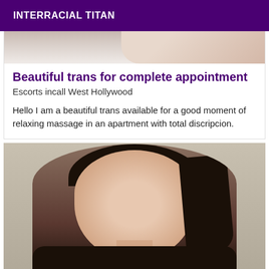INTERRACIAL TITAN
Beautiful trans for complete appointment
Escorts incall West Hollywood
Hello I am a beautiful trans available for a good moment of relaxing massage in an apartment with total discripcion.
[Figure (photo): Portrait photo of a person with dark hair and red lipstick wearing a black top, looking at camera with a slight smile]